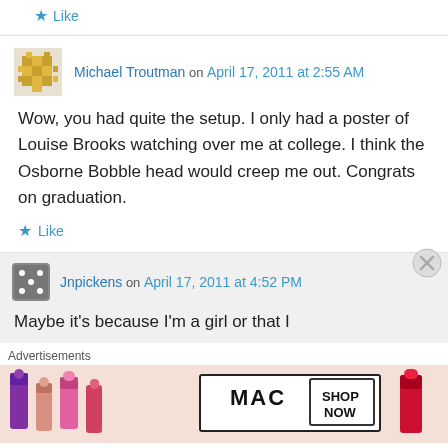Like
Michael Troutman on April 17, 2011 at 2:55 AM
Wow, you had quite the setup. I only had a poster of Louise Brooks watching over me at college. I think the Osborne Bobble head would creep me out. Congrats on graduation.
Like
Jnpickens on April 17, 2011 at 4:52 PM
Maybe it's because I'm a girl or that I
Advertisements
[Figure (photo): MAC Cosmetics advertisement showing lipsticks in purple, pink, and red colors with MAC logo and SHOP NOW button]